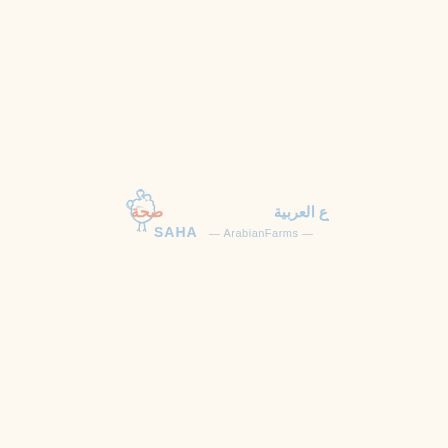[Figure (logo): SAHA Arabian Farms logo with a rooster/chicken icon in light blue on the left, Arabic text 'المزارع العربية صحة' in light blue and peach/salmon colors, and 'SAHA — ArabianFarms —' in light blue text below, all on a warm off-white background.]